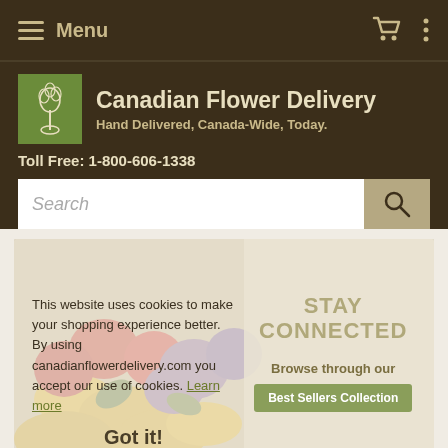Menu
Canadian Flower Delivery
Hand Delivered, Canada-Wide, Today.
Toll Free: 1-800-606-1338
Search
[Figure (photo): Flower arrangement with yellow, red, and purple flowers; overlaid with cookie consent notice and Stay Connected promotional section]
This website uses cookies to make your shopping experience better. By using canadianflowerdelivery.com you accept our use of cookies. Learn more
STAY CONNECTED
Browse through our
Best Sellers Collection
Got it!